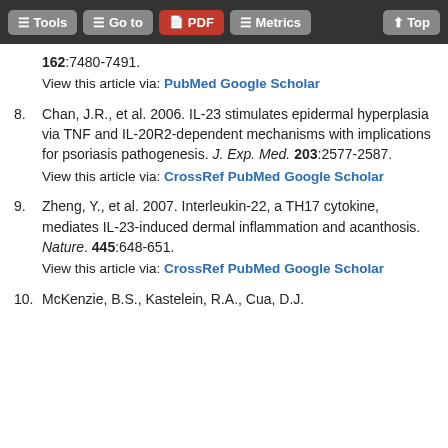Tools | Go to | PDF | Metrics | Top
162:7480-7491. View this article via: PubMed Google Scholar
8. Chan, J.R., et al. 2006. IL-23 stimulates epidermal hyperplasia via TNF and IL-20R2-dependent mechanisms with implications for psoriasis pathogenesis. J. Exp. Med. 203:2577-2587. View this article via: CrossRef PubMed Google Scholar
9. Zheng, Y., et al. 2007. Interleukin-22, a TH17 cytokine, mediates IL-23-induced dermal inflammation and acanthosis. Nature. 445:648-651. View this article via: CrossRef PubMed Google Scholar
10. McKenzie, B.S., Kastelein, R.A., Cua, D.J.